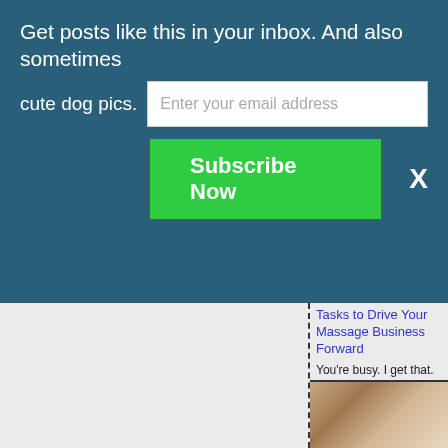Get posts like this in your inbox. And also sometimes cute dog pics.
Enter your email address
Subscribe Now
X
Tasks to Drive Your Massage Business Forward
You're busy.  I get that. You may think you don't have time to do marketing or other things to help your business.  But he...
[Figure (photo): Thumbnail image related to massage business article]